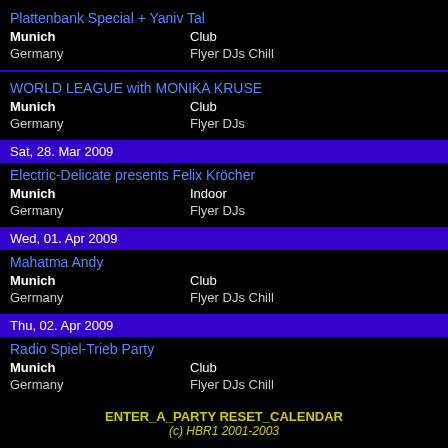Plattenbank Special + Yaniv Tal
Munich   Club
Germany   Flyer DJs Chill
WORLD LEAGUE with MONIKA KRUSE
Munich   Club
Germany   Flyer DJs
Sat, 28. Mar 2009
Electric-Delicate presents Felix Kröcher
Munich   Indoor
Germany   Flyer DJs
Wed, 01. Apr 2009
Mahatma Andy
Munich   Club
Germany   Flyer DJs Chill
Thu, 02. Apr 2009
Radio Spiel-Trieb Party
Munich   Club
Germany   Flyer DJs Chill
ENTER_A_PARTY RESET_CALENDAR
(c) HBR1 2001-2003